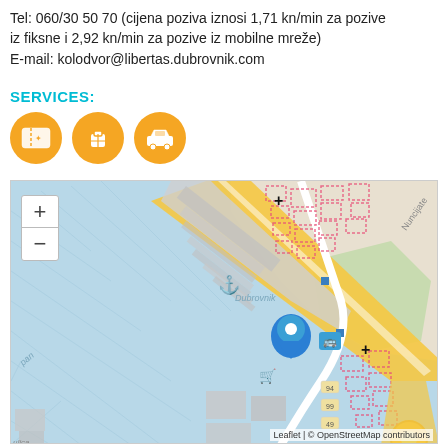Tel: 060/30 50 70 (cijena poziva iznosi 1,71 kn/min za pozive iz fiksne i 2,92 kn/min za pozive iz mobilne mreže)
E-mail: kolodvor@libertas.dubrovnik.com
SERVICES:
[Figure (infographic): Three orange circular service icons: ticket, luggage, taxi]
[Figure (map): OpenStreetMap/Leaflet interactive map showing the bus station location in Dubrovnik port area, with a blue location pin marker, anchor symbol for Dubrovnik port, zoom controls, and various street/building features. Attribution: Leaflet | © OpenStreetMap contributors]